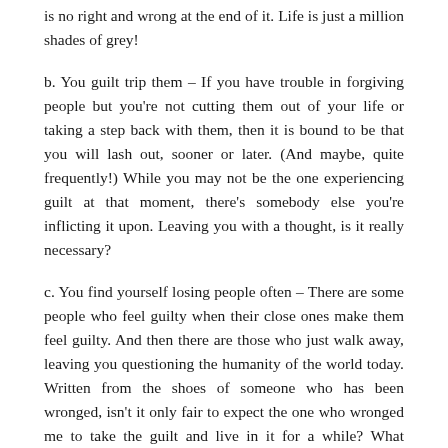is no right and wrong at the end of it. Life is just a million shades of grey!
b. You guilt trip them – If you have trouble in forgiving people but you're not cutting them out of your life or taking a step back with them, then it is bound to be that you will lash out, sooner or later. (And maybe, quite frequently!) While you may not be the one experiencing guilt at that moment, there's somebody else you're inflicting it upon. Leaving you with a thought, is it really necessary?
c. You find yourself losing people often – There are some people who feel guilty when their close ones make them feel guilty. And then there are those who just walk away, leaving you questioning the humanity of the world today. Written from the shoes of someone who has been wronged, isn't it only fair to expect the one who wronged me to take the guilt and live in it for a while? What happens when they walk away? What happens, when this becomes